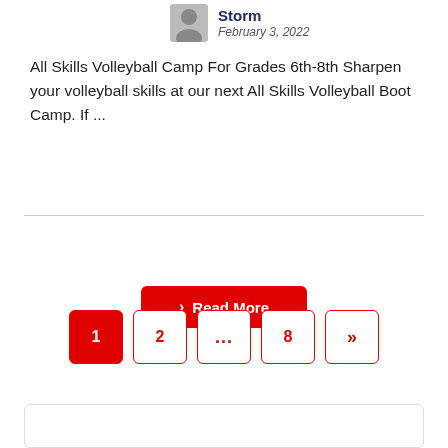Storm
February 3, 2022
All Skills Volleyball Camp For Grades 6th-8th Sharpen your volleyball skills at our next All Skills Volleyball Boot Camp. If ...
> Read More
1  2  ...  8  »